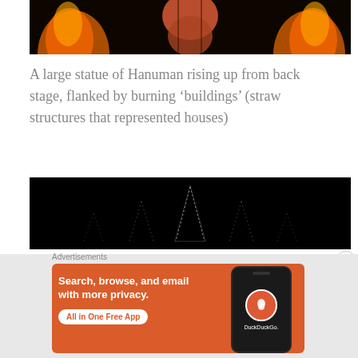[Figure (photo): A performance scene showing a large figure/statue (Hanuman) center stage with orange and red flames on both sides against a dark background.]
A large statue of Hanuman rising up from back stage, flanked by burning ‘buildings’ (straw structures that represented houses)
[Figure (photo): A dark nighttime photograph showing illuminated temple spires/structures silhouetted against a black sky with small lights outlining the shapes.]
Advertisements
[Figure (screenshot): DuckDuckGo advertisement: Search, browse, and email with more privacy. All in One Free App. Shows a smartphone with the DuckDuckGo logo.]